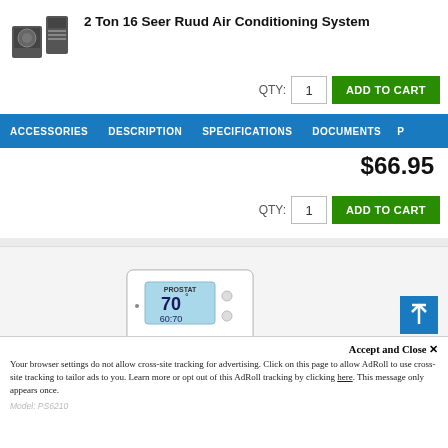2 Ton 16 Seer Ruud Air Conditioning System
[Figure (photo): Air conditioning unit product image — condenser and air handler units in dark gray]
QTY: 1  ADD TO CART
ACCESSORIES  DESCRIPTION  SPECIFICATIONS  DOCUMENTS  P
$66.95
QTY: 1  ADD TO CART
[Figure (photo): ProStat thermostat device with digital display showing 70 degrees]
Accept and Close ✕
Your browser settings do not allow cross-site tracking for advertising. Click on this page to allow AdRoll to use cross-site tracking to tailor ads to you. Learn more or opt out of this AdRoll tracking by clicking here. This message only appears once.
Model: PS6210